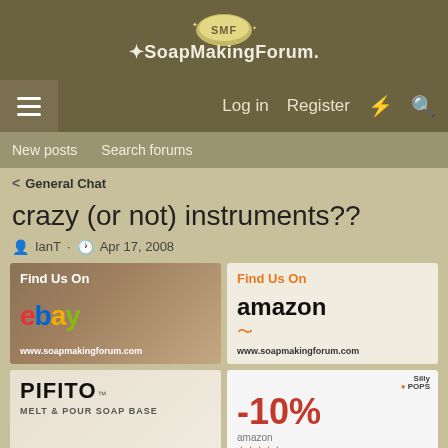[Figure (logo): SoapMakingForum logo with stylized soap bar icon and text 'SoapMakingForum.' in white decorative font on olive/brown background]
Log in  Register  [lightning icon]  [search icon]
New posts  Search forums
< General Chat
crazy (or not) instruments??
IanT · Apr 17, 2008
[Figure (infographic): eBay ad banner: Find Us On ebay www.soapmakingforum.com over wooden background with soap]
[Figure (infographic): Amazon ad banner: Find Us On amazon www.soapmakingforum.com with gift box on wooden tray]
[Figure (infographic): PIFITO MELT & POUR SOAP BASE product ad with colorful soaps]
[Figure (infographic): Silly Pops -10% discount amazon ad with star rating and silicone molds]
Luxurious